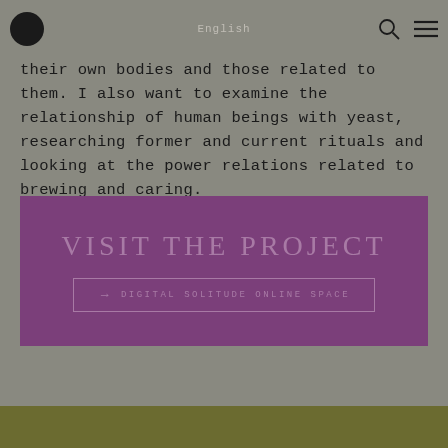English
their own bodies and those related to them. I also want to examine the relationship of human beings with yeast, researching former and current rituals and looking at the power relations related to brewing and caring.
VISIT THE PROJECT
→ DIGITAL SOLITUDE ONLINE SPACE